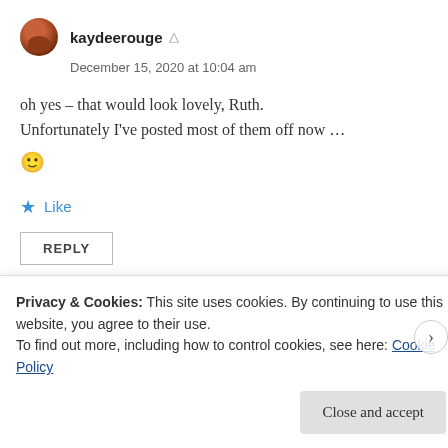kaydeerouge
December 15, 2020 at 10:04 am
oh yes – that would look lovely, Ruth. Unfortunately I've posted most of them off now ... 🙂
Like
REPLY
Privacy & Cookies: This site uses cookies. By continuing to use this website, you agree to their use. To find out more, including how to control cookies, see here: Cookie Policy
Close and accept